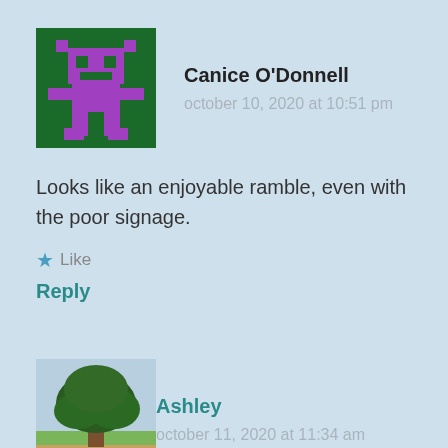[Figure (illustration): Pixel art avatar on dark green background with purple alien/robot figure]
Canice O'Donnell
october 10, 2020 at 10:51 pm
Looks like an enjoyable ramble, even with the poor signage.
★ Like
Reply
[Figure (photo): Photo of a large oak tree in a green field with blue sky]
Ashley
october 11, 2020 at 11:34 am
That's a real shame! You must have felt very frustrated. The area looks great though, maybe a